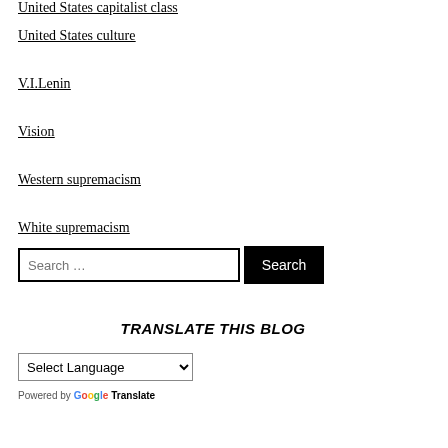United States capitalist class
United States culture
V.I.Lenin
Vision
Western supremacism
White supremacism
Search … [Search box and button]
TRANSLATE THIS BLOG
Select Language [dropdown]
Powered by Google Translate